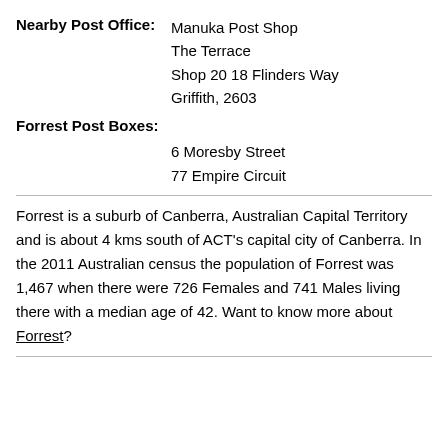Nearby Post Office: Manuka Post Shop
The Terrace
Shop 20 18 Flinders Way
Griffith, 2603
Forrest Post Boxes:
6 Moresby Street
77 Empire Circuit
Forrest is a suburb of Canberra, Australian Capital Territory and is about 4 kms south of ACT's capital city of Canberra. In the 2011 Australian census the population of Forrest was 1,467 when there were 726 Females and 741 Males living there with a median age of 42. Want to know more about Forrest?